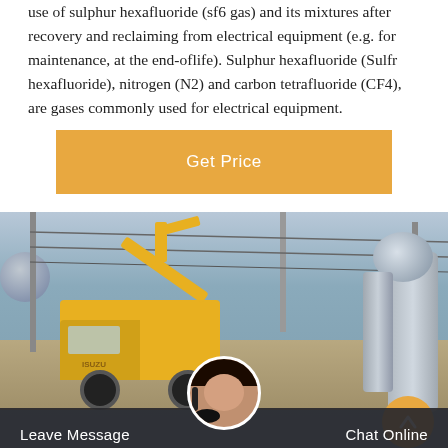use of sulphur hexafluoride (sf6 gas) and its mixtures after recovery and reclaiming from electrical equipment (e.g. for maintenance, at the end-oflife). Sulphur hexafluoride (Sulfr hexafluoride), nitrogen (N2) and carbon tetrafluoride (CF4), are gases commonly used for electrical equipment.
[Figure (other): Orange 'Get Price' button]
[Figure (photo): Photo of a yellow utility truck (Isuzu) at an electrical substation with power poles, wires, and high-voltage equipment. A back/up arrow button is visible in the bottom right corner. A customer service representative avatar and a dark bottom bar with 'Leave Message' and 'Chat Online' options are overlaid.]